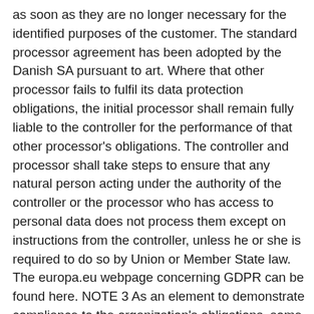as soon as they are no longer necessary for the identified purposes of the customer. The standard processor agreement has been adopted by the Danish SA pursuant to art. Where that other processor fails to fulfil its data protection obligations, the initial processor shall remain fully liable to the controller for the performance of that other processor's obligations. The controller and processor shall take steps to ensure that any natural person acting under the authority of the controller or the processor who has access to personal data does not process them except on instructions from the controller, unless he or she is required to do so by Union or Member State law. The europa.eu webpage concerning GDPR can be found here. NOTE 3 As an element to demonstrate compliance to the organization's obligations, some interested parties can expect that the organization be in conformity with specific standards, such as the Management System specified in this document, and/or any relevant set of specifications. 3. Taking into account the state of the art, the costs of implementation and the nature, scope, context and purposes of processing as well as the risk of varying likelihood and